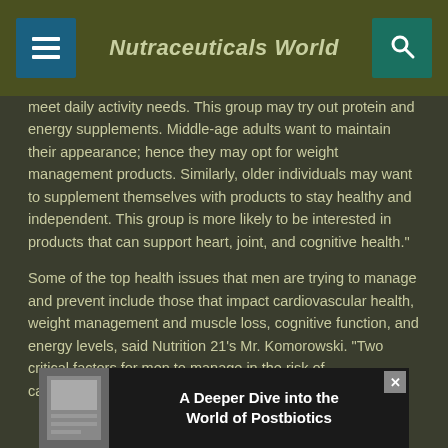Nutraceuticals World
meet daily activity needs. This group may try out protein and energy supplements. Middle-age adults want to maintain their appearance; hence they may opt for weight management products. Similarly, older individuals may want to supplement themselves with products to stay healthy and independent. This group is more likely to be interested in products that can support heart, joint, and cognitive health."
Some of the top health issues that men are trying to manage and prevent include those that impact cardiovascular health, weight management and muscle loss, cognitive function, and energy levels, said Nutrition 21's Mr. Komorowski. "Two critical factors for men to manage in the risk of cardiovascular disease are high
[Figure (other): Advertisement banner: 'A Deeper Dive into the World of Postbiotics' with magazine image on left and close button on right]